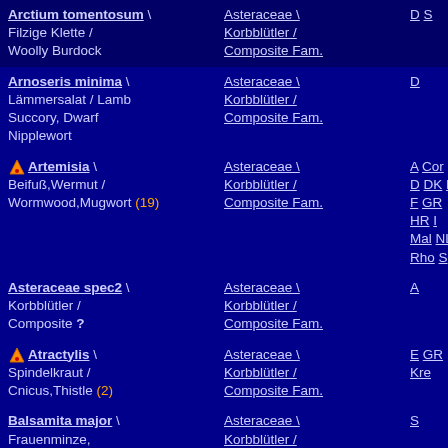| Plant Name | Family | Regions |
| --- | --- | --- |
| Arctium tomentosum \ Filzige Klette / Woolly Burdock | Asteraceae \ Korbblütler / Composite Fam. | D S |
| Arnoseris minima \ Lämmersalat / Lamb Succory, Dwarf Nipplewort | Asteraceae \ Korbblütler / Composite Fam. | D |
| [icon] Artemisia \ Beifuß,Wermut / Wormwood,Mugwort (19) | Asteraceae \ Korbblütler / Composite Fam. | A Cor D DK E F GR HR I Mal NL Rho S |
| Asteraceae spec2 \ Korbblütler / Composite ? | Asteraceae \ Korbblütler / Composite Fam. | A |
| [icon] Atractylis \ Spindelkraut / Cnicus,Thistle (2) | Asteraceae \ Korbblütler / Composite Fam. | E GR Kre |
| Balsamita major \ Frauenminze, Marienblatt / Costmary | Asteraceae \ Korbblütler / Composite Fam. | S |
| Berardia lanuginosa \ Berardie / Berardia | Asteraceae \ Korbblütler / | F |